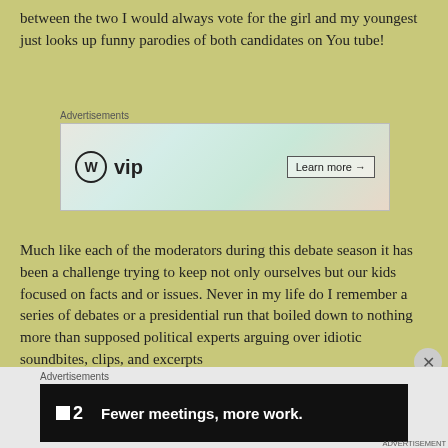between the two I would always vote for the girl and my youngest just looks up funny parodies of both candidates on You tube!
[Figure (other): WordPress VIP advertisement banner with scattered card/paper graphics and a 'Learn more' button]
Much like each of the moderators during this debate season it has been a challenge trying to keep not only ourselves but our kids focused on facts and or issues. Never in my life do I remember a series of debates or a presidential run that boiled down to nothing more than supposed political experts arguing over idiotic soundbites, clips, and excerpts
[Figure (other): Dark banner advertisement: square icon with '2' and text 'Fewer meetings, more work.']